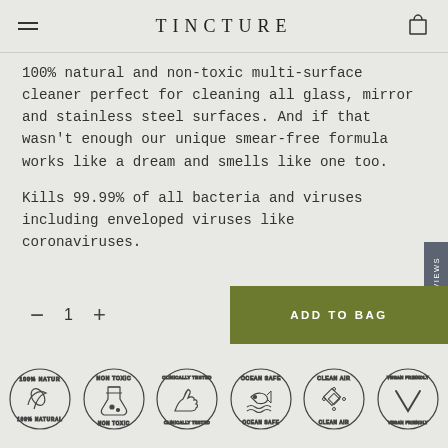TINCTURE
100% natural and non-toxic multi-surface cleaner perfect for cleaning all glass, mirror and stainless steel surfaces. And if that wasn't enough our unique smear-free formula works like a dream and smells like one too.
Kills 99.99% of all bacteria and viruses including enveloped viruses like coronaviruses.
[Figure (infographic): Quantity selector (minus, 1, plus) and olive green ADD TO BAG button]
[Figure (infographic): Six circular badge icons: 100% Natural, Non Toxic, Clinically Tested, Ocean Safe, Clean Air, Vegan Friendly]